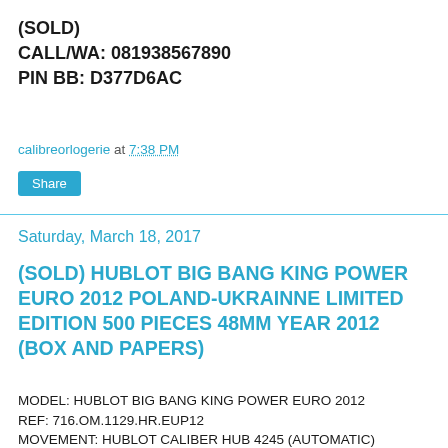(SOLD)
CALL/WA: 081938567890
PIN BB: D377D6AC
calibreorlogerie at 7:38 PM
Share
Saturday, March 18, 2017
(SOLD) HUBLOT BIG BANG KING POWER EURO 2012 POLAND-UKRAINNE LIMITED EDITION 500 PIECES 48MM YEAR 2012 (BOX AND PAPERS)
MODEL: HUBLOT BIG BANG KING POWER EURO 2012
REF: 716.OM.1129.HR.EUP12
MOVEMENT: HUBLOT CALIBER HUB 4245 (AUTOMATIC)
DIAL: BLACK AND RED SKELETONDIAL WITH CHRONOGRAPH AND DATE DISPLAY
DIAMETER: 48MM
CASE: TITANIUM WITH BLACK CERAMIC AND BLACK